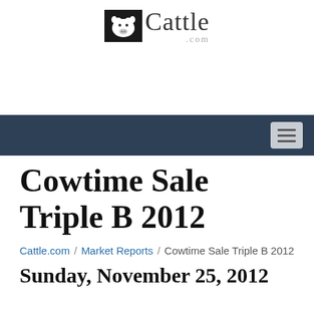[Figure (logo): Cattle.com logo with cow illustration and text 'Cattle .com']
Navigation bar with hamburger menu button
Cowtime Sale Triple B 2012
Cattle.com / Market Reports / Cowtime Sale Triple B 2012
Sunday, November 25, 2012